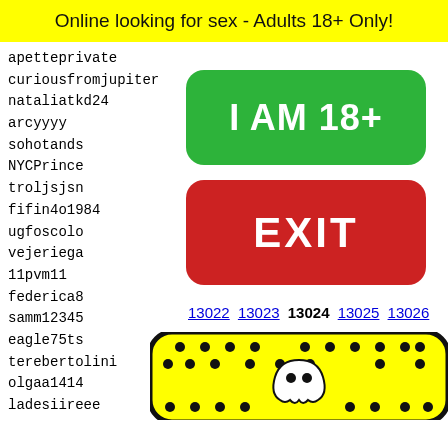Online looking for sex - Adults 18+ Only!
apetteprivate
curiousfromjupiter
nataliatkd24
arcyyyy
sohotands
NYCPrince
troljsjsn
fifin4o1984
ugfoscolo
vejeriega
11pvm11
federica8
samm12345
eagle75ts
terebertolini
olgaa1414
ladesiireee
toton78
thalialopezzz7
QUEGEE214
thepha
trayho
pierso
rudyro
theofr
snsns
[Figure (other): Green button with text I AM 18+]
[Figure (other): Red button with text EXIT]
13022 13023 13024 13025 13026
[Figure (illustration): Snapchat ghost logo on yellow background with black dots pattern]